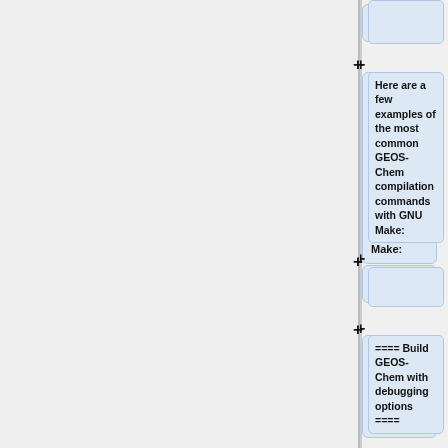[Figure (other): Wiki diff/edit interface showing collapsible sections with blue rounded boxes containing text about GEOS-Chem compilation commands with GNU Make and building GEOS-Chem with debugging options. Each section has a '+' expand button to the left.]
Here are a few examples of the most common GEOS-Chem compilation commands with GNU Make:
==== Build GEOS-Chem with debugging options ====
To build GEOS-Chem with debugging flags turned on, use the command